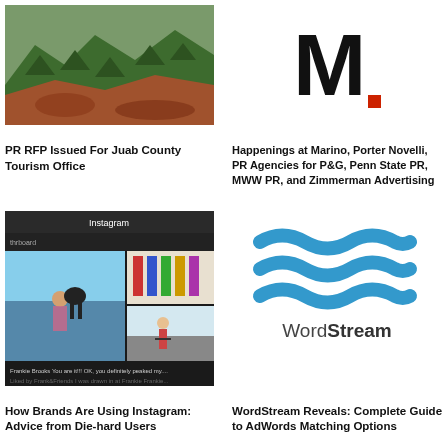[Figure (photo): Aerial photo of mountainous forested landscape with red rock terrain]
PR RFP Issued For Juab County Tourism Office
[Figure (logo): Bold black letter M with a small red square dot — Marino logo]
Happenings at Marino, Porter Novelli, PR Agencies for P&G, Penn State PR, MWW PR, and Zimmerman Advertising
[Figure (screenshot): Instagram interface screenshot showing photos of a woman with a dog, colorful bottles, and a runner]
How Brands Are Using Instagram: Advice from Die-hard Users
[Figure (logo): WordStream logo with blue wave shapes above the text WordStream]
WordStream Reveals: Complete Guide to AdWords Matching Options